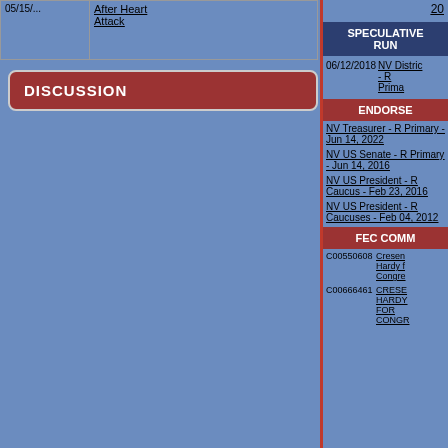| Date | Event |
| --- | --- |
| 05/15/... | After Heart Attack |
DISCUSSION
SPECULATIVE RUN
06/12/2018 NV District - R Primary
ENDORSED
NV Treasurer - R Primary - Jun 14, 2022
NV US Senate - R Primary - Jun 14, 2016
NV US President - R Caucus - Feb 23, 2016
NV US President - R Caucuses - Feb 04, 2012
FEC COMM
C00550608 Cresen Hardy for Congre...
C00666461 CRESCENT HARDY FOR CONGR...